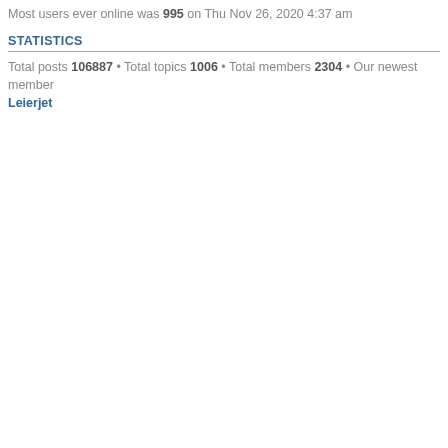Most users ever online was 995 on Thu Nov 26, 2020 4:37 am
STATISTICS
Total posts 106887 • Total topics 1006 • Total members 2304 • Our newest member Leierjet